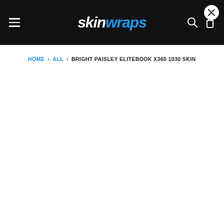skinwraps
HOME > ALL > BRIGHT PAISLEY ELITEBOOK X360 1030 SKIN